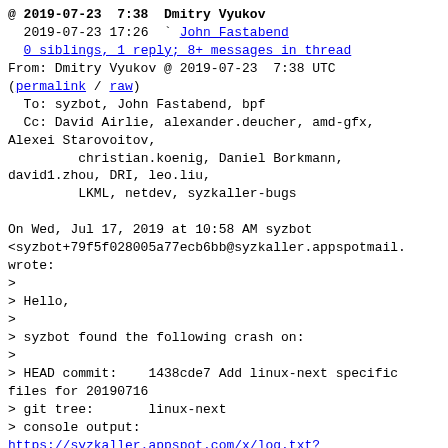@ 2019-07-23  7:38  Dmitry Vyukov
  2019-07-23 17:26  ` John Fastabend
  0 siblings, 1 reply; 8+ messages in thread
From: Dmitry Vyukov @ 2019-07-23  7:38 UTC
(permalink / raw)
  To: syzbot, John Fastabend, bpf
  Cc: David Airlie, alexander.deucher, amd-gfx,
Alexei Starovoitov,
         christian.koenig, Daniel Borkmann,
david1.zhou, DRI, leo.liu,
         LKML, netdev, syzkaller-bugs

On Wed, Jul 17, 2019 at 10:58 AM syzbot
<syzbot+79f5f028005a77ecb6bb@syzkaller.appspotmail.e
wrote:
>
> Hello,
>
> syzbot found the following crash on:
>
> HEAD commit:    1438cde7 Add linux-next specific
files for 20190716
> git tree:       linux-next
> console output:
https://syzkaller.appspot.com/x/log.txt?x=13988058600000
> kernel config:
https://syzkaller.appspot.com/x/.config?x=3430a151e1452331
> dashboard link:
https://...